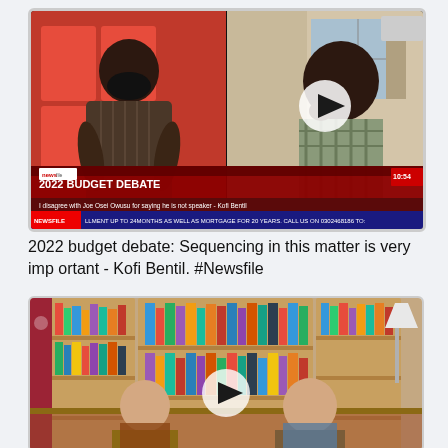[Figure (screenshot): TV news video thumbnail showing two men in a split screen. Left side: man in mask against red background. Right side: man in plaid shirt in a room. Lower third banner reads '2022 BUDGET DEBATE' with text 'I disagree with Joe Osei Owusu for saying he is not speaker - Kofi Bentil'. Play button overlay in center.]
2022 budget debate: Sequencing in this matter is very important - Kofi Bentil. #Newsfile
[Figure (screenshot): Video thumbnail showing two men seated at a table in front of a bookshelf library background. A white lamp is visible on the right. Play button overlay in center.]